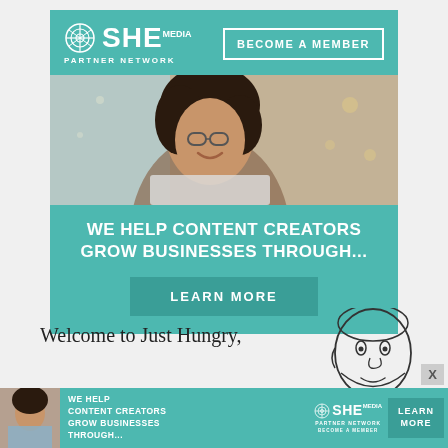[Figure (infographic): SHE Media Partner Network advertisement banner. Teal background with SHE Media logo and 'BECOME A MEMBER' button at top, photo of smiling woman with glasses using laptop, headline text 'WE HELP CONTENT CREATORS GROW BUSINESSES THROUGH...' and 'LEARN MORE' button.]
Welcome to Just Hungry,

where we serve
[Figure (illustration): Line drawing cartoon of a person's face/head in profile or three-quarter view]
[Figure (infographic): Bottom banner ad for SHE Media Partner Network. Teal background with woman photo on left, text 'WE HELP CONTENT CREATORS GROW BUSINESSES THROUGH...' in center, SHE Media logo, and 'LEARN MORE' button on right.]